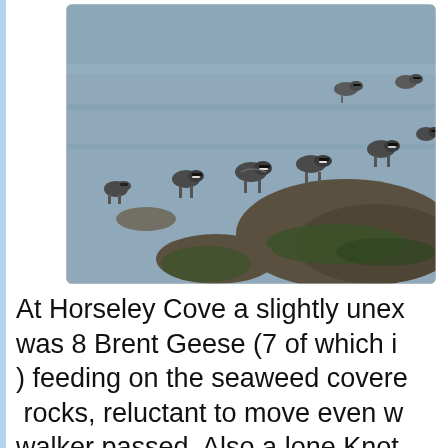[Figure (photo): Photograph of Brent Geese wading and standing on seaweed-covered rocks in a coastal cove, with grey water in the background.]
At Horseley Cove a slightly unexpected was 8 Brent Geese (7 of which in ) feeding on the seaweed covered rocks, reluctant to move even w walker passed. Also a lone Knot Turnstones.At the Airfield were 5 Plovers and 2 Lapwing.